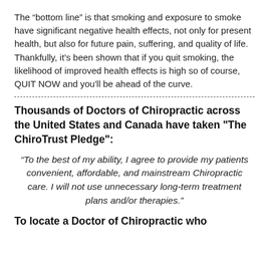The “bottom line” is that smoking and exposure to smoke have significant negative health effects, not only for present health, but also for future pain, suffering, and quality of life. Thankfully, it’s been shown that if you quit smoking, the likelihood of improved health effects is high so of course, QUIT NOW and you'll be ahead of the curve.
Thousands of Doctors of Chiropractic across the United States and Canada have taken "The ChiroTrust Pledge":
“To the best of my ability, I agree to provide my patients convenient, affordable, and mainstream Chiropractic care. I will not use unnecessary long-term treatment plans and/or therapies.”
To locate a Doctor of Chiropractic who